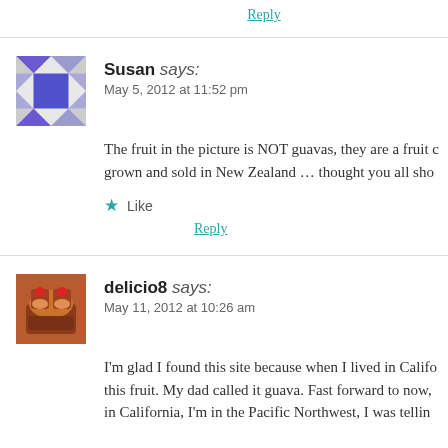Reply
Susan says:
May 5, 2012 at 11:52 pm
The fruit in the picture is NOT guavas, they are a fruit grown and sold in New Zealand … thought you all sho
Like
Reply
delicio8 says:
May 11, 2012 at 10:26 am
I'm glad I found this site because when I lived in Califo this fruit. My dad called it guava. Fast forward to now, in California, I'm in the Pacific Northwest, I was tellin